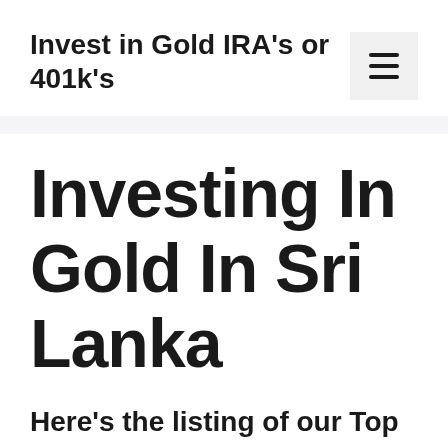Invest in Gold IRA's or 401k's
Investing In Gold In Sri Lanka
Here's the listing of our Top 3: